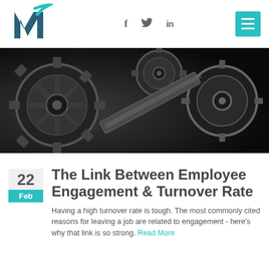M [logo] | f | bird | in | [hamburger menu]
[Figure (photo): Black and white close-up photo of industrial gears and cogs interlocking]
22 Feb
The Link Between Employee Engagement & Turnover Rate
Having a high turnover rate is tough. The most commonly cited reasons for leaving a job are related to engagement - here's why that link is so strong. Read More